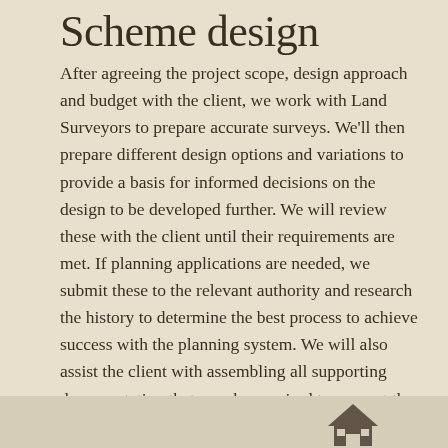Scheme design
After agreeing the project scope, design approach and budget with the client, we work with Land Surveyors to prepare accurate surveys. We'll then prepare different design options and variations to provide a basis for informed decisions on the design to be developed further. We will review these with the client until their requirements are met. If planning applications are needed, we submit these to the relevant authority and research the history to determine the best process to achieve success with the planning system. We will also assist the client with assembling all supporting documentation that may be required to support the planning application.
[Figure (illustration): Bottom strip with a small house/building icon illustration]